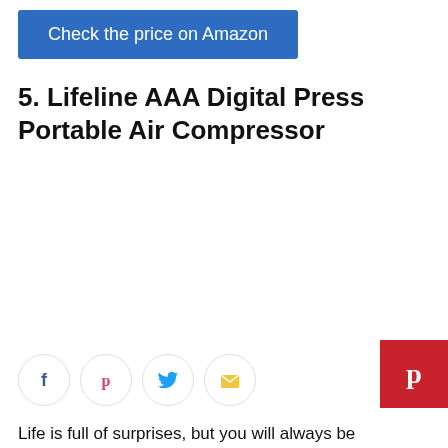[Figure (other): Blue button with text: Check the price on Amazon]
5. Lifeline AAA Digital Press Portable Air Compressor
[Figure (other): Pinterest floating button (red square with white P icon)]
[Figure (other): Social share icons: Facebook, Pinterest, Twitter, Email]
Life is full of surprises, but you will always be